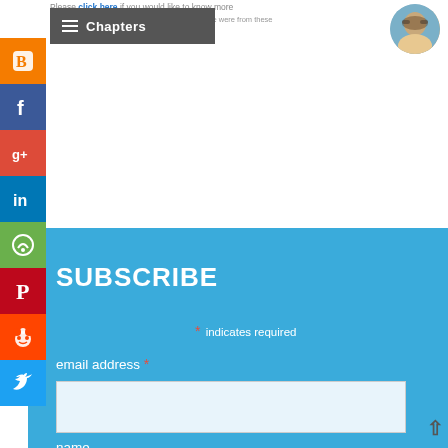Please click here if you would like to know more. Chapters
[Figure (photo): Avatar photo of a man with sunglasses, circular crop]
[Figure (infographic): Social media sharing sidebar with icons: Blogger, Facebook, Google+, LinkedIn, Feedly, Pinterest, Reddit, Twitter]
SUBSCRIBE
* indicates required
email address *
name